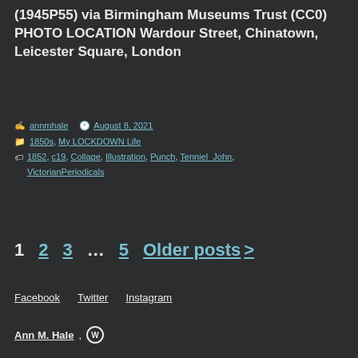(1945P55) via Birmingham Museums Trust (CC0) PHOTO LOCATION Wardour Street, Chinatown, Leicester Square, London
Post by annmhale  Date August 8, 2021  Categories 1850s, My LOCKDOWN Life  Tags 1852, c19, Collage, Illustration, Punch, Tenniel_John, VictorianPeriodicals
1  2  3  ...  5  Older posts >
Facebook  Twitter  Instagram
Ann M. Hale, W